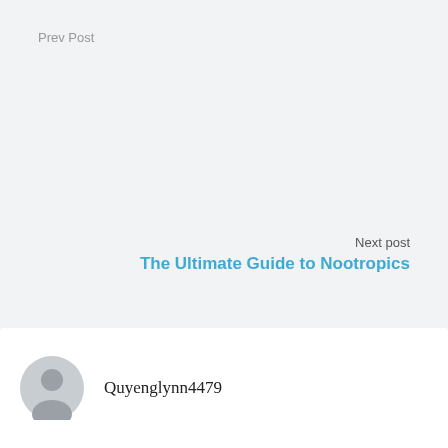Prev Post
Next post
The Ultimate Guide to Nootropics
Quyenglynn4479